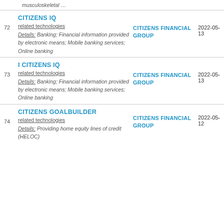musculoskeletal …
72 | CITIZENS IQ | related technologies | Details: Banking; Financial information provided by electronic means; Mobile banking services; Online banking | CITIZENS FINANCIAL GROUP | 2022-05-13
73 | I CITIZENS IQ | related technologies | Details: Banking; Financial information provided by electronic means; Mobile banking services; Online banking | CITIZENS FINANCIAL GROUP | 2022-05-13
74 | CITIZENS GOALBUILDER | related technologies | Details: Providing home equity lines of credit (HELOC) | CITIZENS FINANCIAL GROUP | 2022-05-12